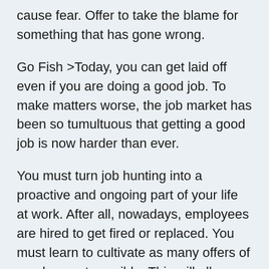cause fear. Offer to take the blame for something that has gone wrong.
Go Fish >Today, you can get laid off even if you are doing a good job. To make matters worse, the job market has been so tumultuous that getting a good job is now harder than ever.
You must turn job hunting into a proactive and ongoing part of your life at work. After all, nowadays, employees are hired to get fired or replaced. You must learn to cultivate as many offers of employment possible. This will allow you to choose the job that is best for you. You must stop hunting for one specific job. Instead, fish for as many jobs as possible and look at everything that bites. Then decide which jobs you can take, and which ones you can throw